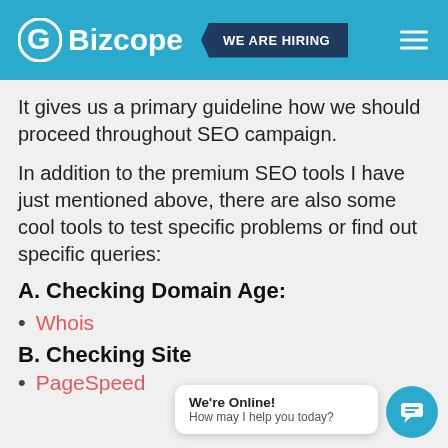Bizcope — WE ARE HIRING
It gives us a primary guideline how we should proceed throughout SEO campaign.
In addition to the premium SEO tools I have just mentioned above, there are also some cool tools to test specific problems or find out specific queries:
A. Checking Domain Age:
Whois
B. Checking Site
PageSpeed
We're Online! How may I help you today?